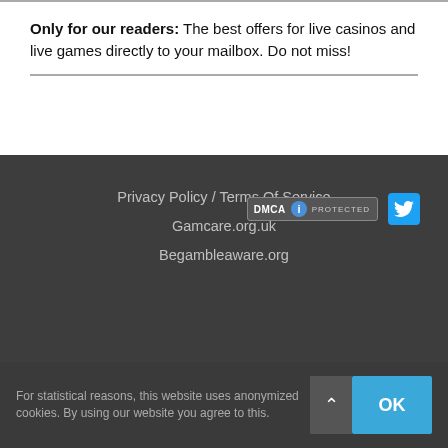Only for our readers: The best offers for live casinos and live games directly to your mailbox. Do not miss!
Privacy Policy / Terms Of Service
Gamcare.org.uk
Begambleaware.org
[Figure (logo): DMCA Protected badge and Twitter bird icon badge]
For statistical reasons, this website uses anonymized cookies. By using our website you agree to this.